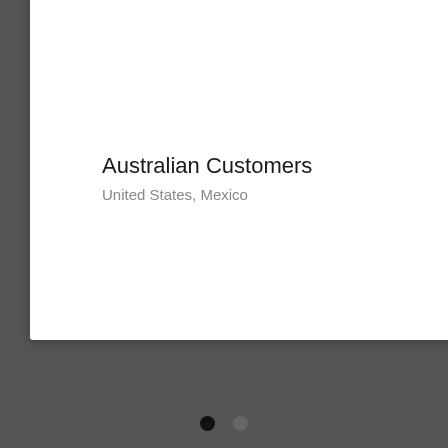[Figure (screenshot): E-commerce product page showing a modal popup for Australian Customers, a notification popup showing someone bought A-Line Maxi Dress with Adjustable Straps, select buttons, carousel navigation dots, and product details for Open-Back Halter Maxi Dress with Draped Bow.]
Australian Customers
United States, Mexico
select
Angela in Wayne just bough A-Line Maxi Dress with Adjustable Straps
about 10 minutes ago
select
Open-Back Halter Maxi Dress with Draped Bow
Ships duty free from our warehouse in Ontario.
After Six Style 6836 | Crepe
C$323
Write a review